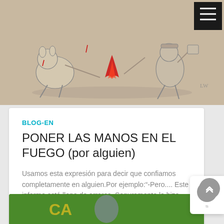[Figure (illustration): Sketch drawing of anthropomorphic animals around a campfire, pencil/ink style with red flame highlight, on beige/tan background]
BLOG-EN
PONER LAS MANOS EN EL FUEGO (por alguien)
Usamos esta expresión para decir que confiamos completamente en alguien.Por ejemplo:"-Pero.... Este informe está lleno de errores. Seguramente lo hizo Martín.-No, Martín no puede ser, es súper responsable. Yo pongo las manos en el fuego
Read more...
[Figure (photo): Bottom portion of next article image showing green background with partial text/logo in yellow]